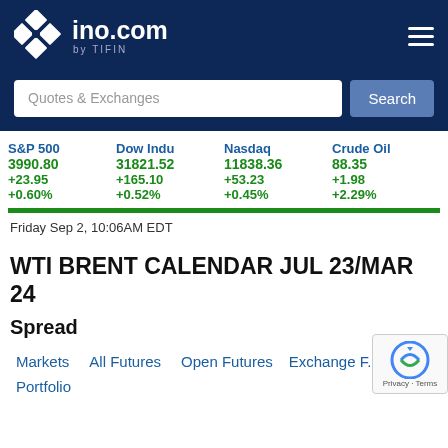[Figure (logo): ino.com by TIFIN logo with diamond shapes on dark blue header]
Quotes & Exchanges
| S&P 500 | Dow Indu | Nasdaq | Crude Oil |
| --- | --- | --- | --- |
| 3990.80 | 31821.52 | 11838.36 | 88.35 |
| +23.95 | +165.10 | +53.23 | +1.98 |
| +0.60% | +0.52% | +0.45% | +2.29% |
Friday Sep 2, 10:06AM EDT
WTI BRENT CALENDAR JUL 23/MAR 24
Spread
Markets
All Futures
Open Futures
Exchange ...
Portfolio